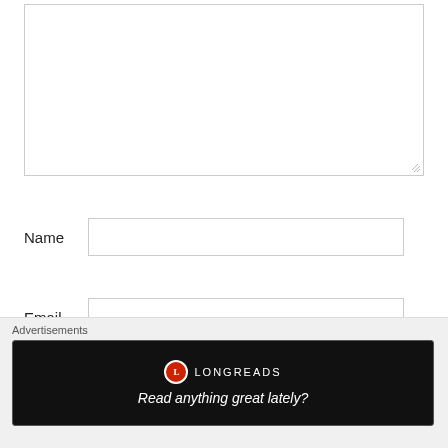[Figure (screenshot): A large empty textarea input box with a resize handle in the bottom-right corner]
Name
[Figure (screenshot): A text input field for Name]
Email
[Figure (screenshot): A text input field for Email]
[Figure (screenshot): A partially visible text input field at the bottom]
Advertisements
[Figure (screenshot): A Longreads advertisement banner on a black background with logo and tagline: Read anything great lately?]